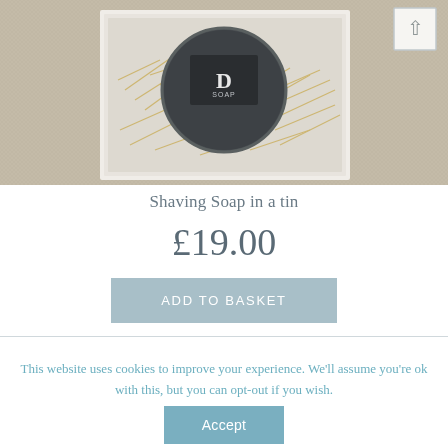[Figure (photo): Top-down view of a shaving soap in a round tin, placed inside a white gift box with straw/hay packaging material, on a linen fabric background. A navigation arrow button is visible in the top-right corner.]
Shaving Soap in a tin
£19.00
ADD TO BASKET
This website uses cookies to improve your experience. We'll assume you're ok with this, but you can opt-out if you wish.
Accept